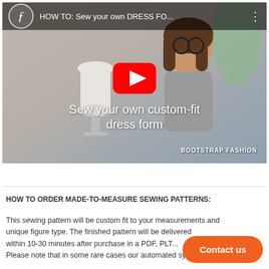[Figure (screenshot): YouTube video thumbnail showing a woman in a sewing studio next to a dress form mannequin, with a red YouTube play button, title 'HOW TO: Sew your own DRESS FO...' in the top bar, overlay text 'Sew your own custom-fit dress form', and Bootstrap Fashion watermark.]
HOW TO ORDER MADE-TO-MEASURE SEWING PATTERNS:
This sewing pattern will be custom fit to your measurements and unique figure type. The finished pattern will be delivered within 10-30 minutes after purchase in a PDF, PLT... Please note that in some rare cases our automated system will
[Figure (other): Orange rounded rectangle 'Contact us' button]